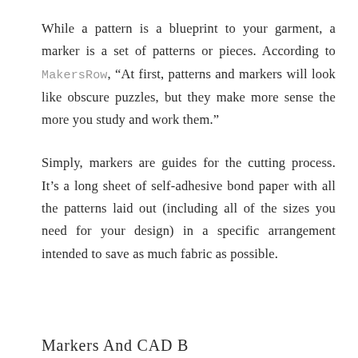While a pattern is a blueprint to your garment, a marker is a set of patterns or pieces. According to MakersRow, “At first, patterns and markers will look like obscure puzzles, but they make more sense the more you study and work them.”
Simply, markers are guides for the cutting process. It’s a long sheet of self-adhesive bond paper with all the patterns laid out (including all of the sizes you need for your design) in a specific arrangement intended to save as much fabric as possible.
Markers And CAD B...